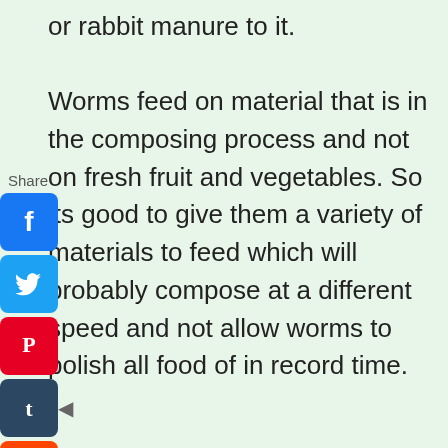or rabbit manure to it.

Worms feed on material that is in the composing process and not on fresh fruit and vegetables. So its good to give them a variety of materials to feed which will probably compose at a different speed and not allow worms to polish all food of in record time.
[Figure (infographic): Social media share sidebar with icons for Facebook, Twitter, Pinterest, Tumblr, Reddit, WhatsApp, and Messenger, with a Share label and back arrow]